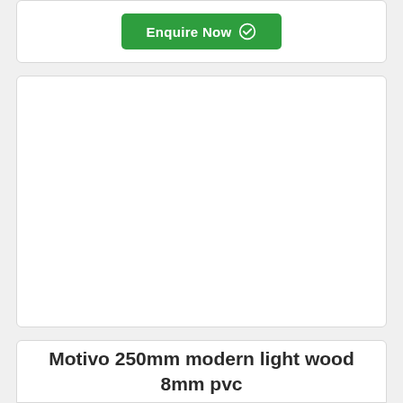[Figure (screenshot): Green 'Enquire Now' button with checkmark circle icon, centered in a white card]
[Figure (photo): White empty card area, likely a product image placeholder]
Motivo 250mm modern light wood 8mm pvc